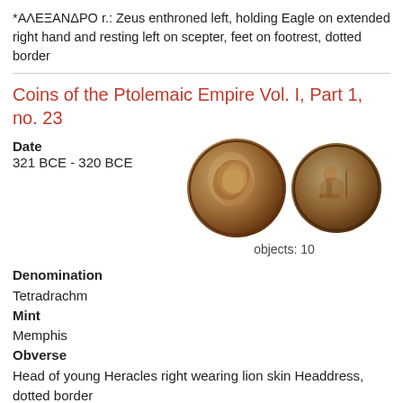*ΑΛΕΞΑΝΔΡΟ r.: Zeus enthroned left, holding Eagle on extended right hand and resting left on scepter, feet on footrest, dotted border
Coins of the Ptolemaic Empire Vol. I, Part 1, no. 23
Date
321 BCE - 320 BCE
[Figure (photo): Two ancient silver coins side by side. Left coin shows head of young Heracles right wearing lion skin headdress. Right coin shows Zeus enthroned left holding Eagle.]
objects: 10
Denomination
Tetradrachm
Mint
Memphis
Obverse
Head of young Heracles right wearing lion skin Headdress, dotted border
Reverse
ΑΛΕΞΑΝΔΡΟΥ r.: Zeus enthroned left, holding Eagle on extended